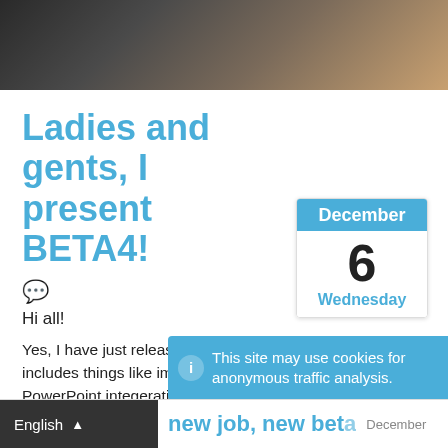[Figure (photo): Dark blurred hero photo with warm tones at top of page]
Ladies and gents, I present BETA4!
[Figure (other): Calendar widget showing December 6, Wednesday]
💬
Hi all!
Yes, I have just released openlp.org beta4. This beta includes things like improved useability, working PowerPoint integeration and a revamped theme system. Please report bugs in the bug reporting forum.
This site may use cookies for anonymous traffic analysis.
English
new job, new beta